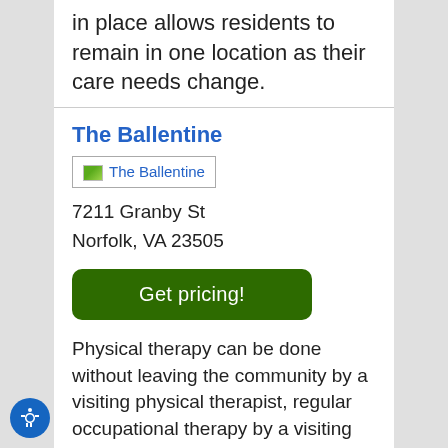in place allows residents to remain in one location as their care needs change.
The Ballentine
[Figure (other): Broken image placeholder labeled 'The Ballentine']
7211 Granby St
Norfolk, VA 23505
Get pricing!
Physical therapy can be done without leaving the community by a visiting physical therapist, regular occupational therapy by a visiting therapist helps you stay active and